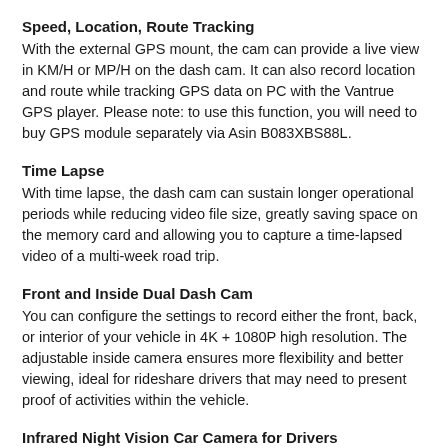Speed, Location, Route Tracking
With the external GPS mount, the cam can provide a live view in KM/H or MP/H on the dash cam. It can also record location and route while tracking GPS data on PC with the Vantrue GPS player. Please note: to use this function, you will need to buy GPS module separately via Asin B083XBS88L.
Time Lapse
With time lapse, the dash cam can sustain longer operational periods while reducing video file size, greatly saving space on the memory card and allowing you to capture a time-lapsed video of a multi-week road trip.
Front and Inside Dual Dash Cam
You can configure the settings to record either the front, back, or interior of your vehicle in 4K + 1080P high resolution. The adjustable inside camera ensures more flexibility and better viewing, ideal for rideshare drivers that may need to present proof of activities within the vehicle.
Infrared Night Vision Car Camera for Drivers